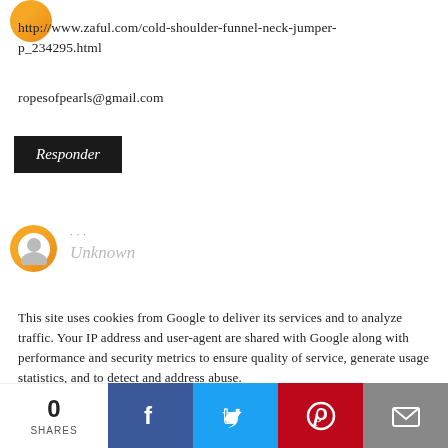http://www.zaful.com/cold-shoulder-funnel-neck-jumper-p_234295.html
ropesofpearls@gmail.com
Responder
Unknown
This site uses cookies from Google to deliver its services and to analyze traffic. Your IP address and user-agent are shared with Google along with performance and security metrics to ensure quality of service, generate usage statistics, and to detect and address abuse.
http://www.zaful.com/woolen-double-breasted-coat-p_23010.html
c.meralde.rodrigues@gmail.com
Responder
0 SHARES